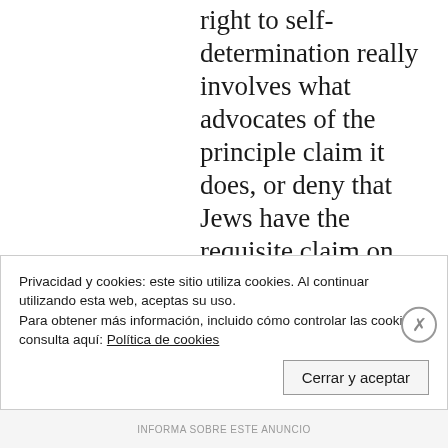right to self-determination really involves what advocates of the principle claim it does, or deny that Jews have the requisite claim on the geographical area in question.
In fact, I think there is a basis to challenge all three, but for present purposes I will focus on the question of whether a people's right to self-determination entails their right to a state of their
Privacidad y cookies: este sitio utiliza cookies. Al continuar utilizando esta web, aceptas su uso.
Para obtener más información, incluido cómo controlar las cookies, consulta aquí: Política de cookies
Cerrar y aceptar
INFORMA SOBRE ESTE ANUNCIO